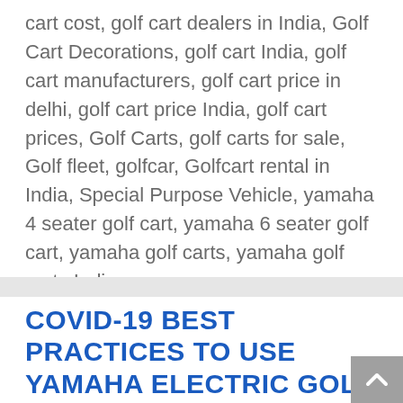cart cost, golf cart dealers in India, Golf Cart Decorations, golf cart India, golf cart manufacturers, golf cart price in delhi, golf cart price India, golf cart prices, Golf Carts, golf carts for sale, Golf fleet, golfcar, Golfcart rental in India, Special Purpose Vehicle, yamaha 4 seater golf cart, yamaha 6 seater golf cart, yamaha golf carts, yamaha golf carts India
COVID-19 BEST PRACTICES TO USE YAMAHA ELECTRIC GOLF CART